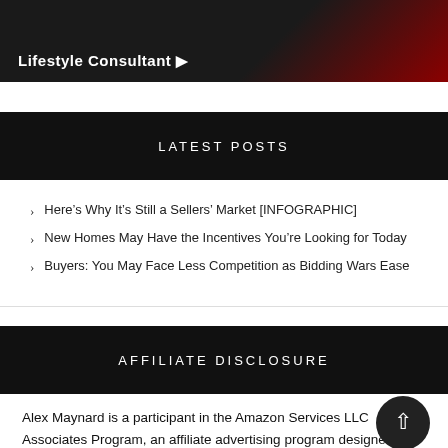[Figure (photo): Dark banner image with text 'Lifestyle Consultant' and a play button icon, man in suit visible, red accent in background]
LATEST POSTS
Here’s Why It’s Still a Sellers’ Market [INFOGRAPHIC]
New Homes May Have the Incentives You’re Looking for Today
Buyers: You May Face Less Competition as Bidding Wars Ease
AFFILIATE DISCLOSURE
Alex Maynard is a participant in the Amazon Services LLC Associates Program, an affiliate advertising program designed to provide a means for sites to earn advertising fees by advertising and linking to amazon.com.  Alex Maynard may also suggest and recommend other products and vendors with an affiliate arrangement.